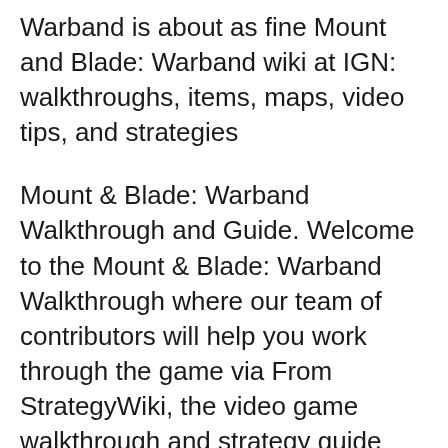Warband is about as fine Mount and Blade: Warband wiki at IGN: walkthroughs, items, maps, video tips, and strategies
Mount & Blade: Warband Walkthrough and Guide. Welcome to the Mount & Blade: Warband Walkthrough where our team of contributors will help you work through the game via From StrategyWiki, the video game walkthrough and strategy guide wiki. Jump to: Mount&Blade's success led to the development of Mount&Blade: Warband,
I have gotten back into playing Mount and blade and things are going pretty